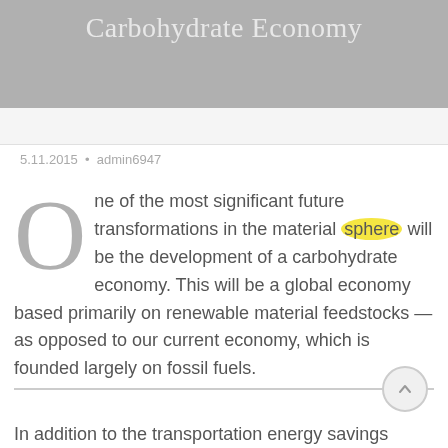Carbohydrate Economy
5.11.2015  •  admin6947
One of the most significant future transformations in the material sphere will be the development of a carbohydrate economy. This will be a global economy based primarily on renewable material feedstocks—as opposed to our current economy, which is founded largely on fossil fuels.
In addition to the transportation energy savings